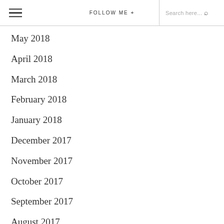≡  FOLLOW ME +  Search here...
May 2018
April 2018
March 2018
February 2018
January 2018
December 2017
November 2017
October 2017
September 2017
August 2017
July 2017
June 2017